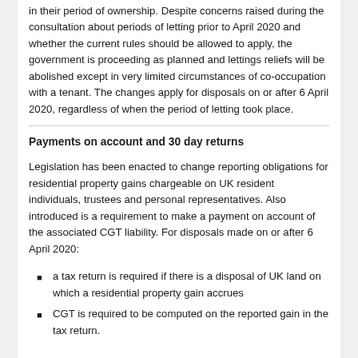in their period of ownership. Despite concerns raised during the consultation about periods of letting prior to April 2020 and whether the current rules should be allowed to apply, the government is proceeding as planned and lettings reliefs will be abolished except in very limited circumstances of co-occupation with a tenant. The changes apply for disposals on or after 6 April 2020, regardless of when the period of letting took place.
Payments on account and 30 day returns
Legislation has been enacted to change reporting obligations for residential property gains chargeable on UK resident individuals, trustees and personal representatives. Also introduced is a requirement to make a payment on account of the associated CGT liability. For disposals made on or after 6 April 2020:
a tax return is required if there is a disposal of UK land on which a residential property gain accrues
CGT is required to be computed on the reported gain in the tax return.